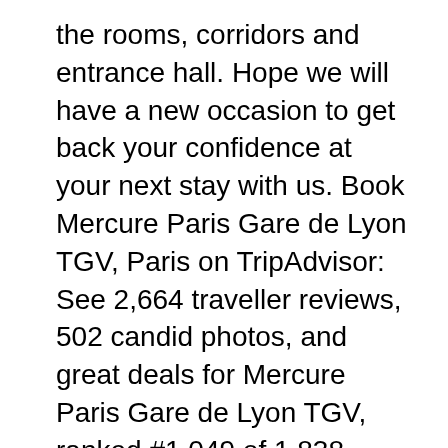the rooms, corridors and entrance hall. Hope we will have a new occasion to get back your confidence at your next stay with us. Book Mercure Paris Gare de Lyon TGV, Paris on TripAdvisor: See 2,664 traveller reviews, 502 candid photos, and great deals for Mercure Paris Gare de Lyon TGV, ranked #1,049 of 1,838 hotels in Paris and rated 3.5 of 5 at TripAdvisor.
Search for the cheapest hotel deal for НГrtel Mercure Paris Gare De Lyon Tgv in Paris. KAYAK searches hundreds of travel sites to help you find and book the hotel deal at НГrtel Mercure Paris Gare De Lyon Tgv that suits you best. +APP...